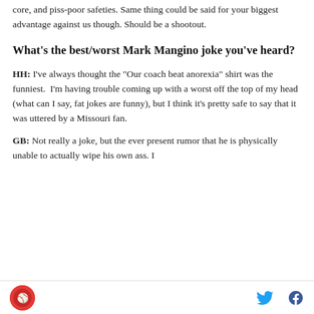core, and piss-poor safeties. Same thing could be said for your biggest advantage against us though. Should be a shootout.
What's the best/worst Mark Mangino joke you've heard?
HH: I've always thought the "Our coach beat anorexia" shirt was the funniest.  I'm having trouble coming up with a worst off the top of my head (what can I say, fat jokes are funny), but I think it's pretty safe to say that it was uttered by a Missouri fan.
GB: Not really a joke, but the ever present rumor that he is physically unable to actually wipe his own ass. I